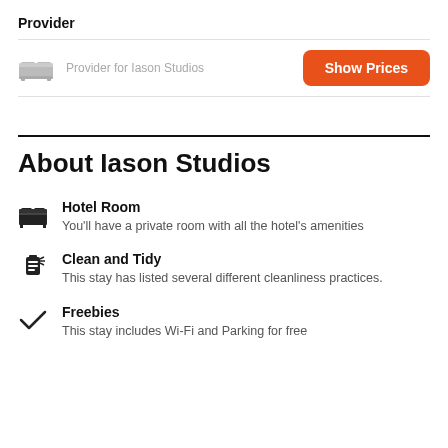Provider
Provider for Iason Studios
Show Prices
About Iason Studios
Hotel Room
You'll have a private room with all the hotel's amenities
Clean and Tidy
This stay has listed several different cleanliness practices.
Freebies
This stay includes Wi-Fi and Parking for free